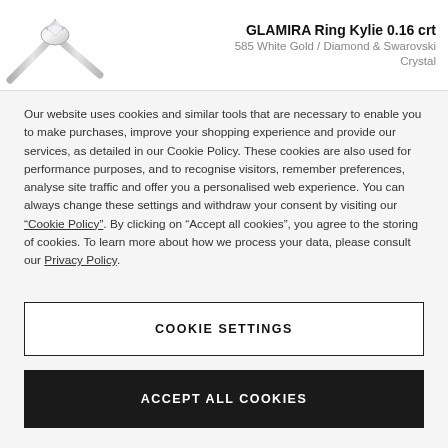[Figure (photo): A white gold diamond ring (GLAMIRA Ring Kylie) photographed on a white background, showing the solitaire setting with the band curving elegantly.]
GLAMIRA Ring Kylie 0.16 crt
585 White Gold / Diamond & Swarovski Crystal
Our website uses cookies and similar tools that are necessary to enable you to make purchases, improve your shopping experience and provide our services, as detailed in our Cookie Policy. These cookies are also used for performance purposes, and to recognise visitors, remember preferences, analyse site traffic and offer you a personalised web experience. You can always change these settings and withdraw your consent by visiting our “Cookie Policy”. By clicking on “Accept all cookies”, you agree to the storing of cookies. To learn more about how we process your data, please consult our Privacy Policy.
COOKIE SETTINGS
ACCEPT ALL COOKIES